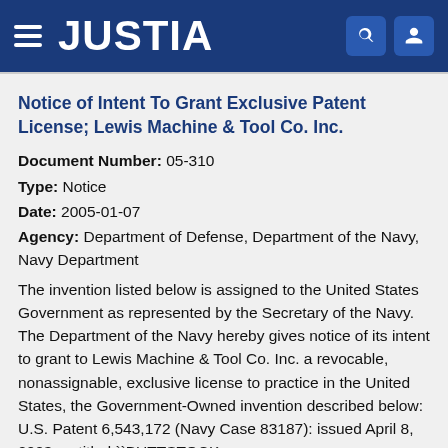JUSTIA
Notice of Intent To Grant Exclusive Patent License; Lewis Machine & Tool Co. Inc.
Document Number: 05-310
Type: Notice
Date: 2005-01-07
Agency: Department of Defense, Department of the Navy, Navy Department
The invention listed below is assigned to the United States Government as represented by the Secretary of the Navy. The Department of the Navy hereby gives notice of its intent to grant to Lewis Machine & Tool Co. Inc. a revocable, nonassignable, exclusive license to practice in the United States, the Government-Owned invention described below: U.S. Patent 6,543,172 (Navy Case 83187): issued April 8, 2003, entitled ``BUTTSTOCK